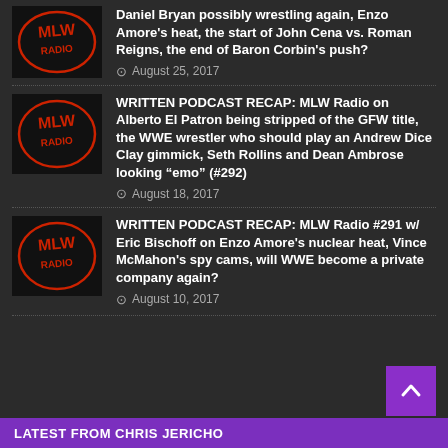Daniel Bryan possibly wrestling again, Enzo Amore's heat, the start of John Cena vs. Roman Reigns, the end of Baron Corbin's push? August 25, 2017
WRITTEN PODCAST RECAP: MLW Radio on Alberto El Patron being stripped of the GFW title, the WWE wrestler who should play an Andrew Dice Clay gimmick, Seth Rollins and Dean Ambrose looking “emo” (#292) August 18, 2017
WRITTEN PODCAST RECAP: MLW Radio #291 w/ Eric Bischoff on Enzo Amore's nuclear heat, Vince McMahon's spy cams, will WWE become a private company again? August 10, 2017
LATEST FROM CHRIS JERICHO